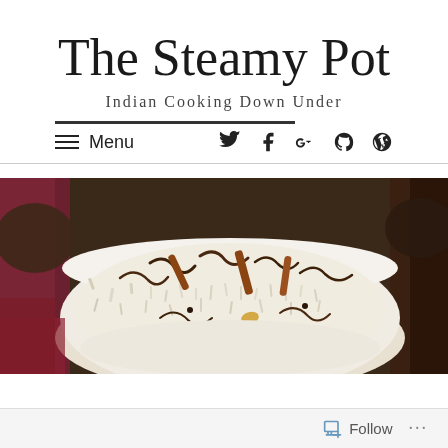The Steamy Pot
Indian Cooking Down Under
Menu
[Figure (photo): A white scalloped bowl filled with basmati rice garnished with crispy caramelized onions, cashews, and whole spices such as cinnamon sticks]
Follow ...